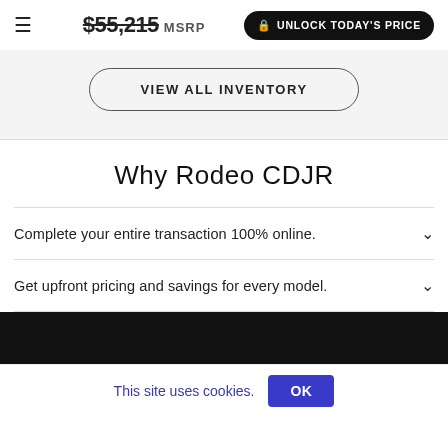$55,215 MSRP  UNLOCK TODAY'S PRICE
VIEW ALL INVENTORY
Why Rodeo CDJR
Complete your entire transaction 100% online.
Get upfront pricing and savings for every model.
This site uses cookies.  OK